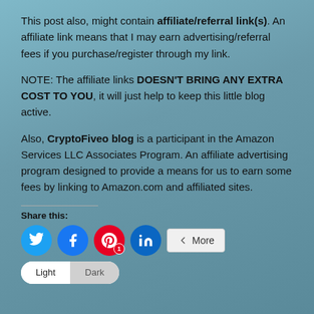This post also, might contain affiliate/referral link(s). An affiliate link means that I may earn advertising/referral fees if you purchase/register through my link.
NOTE: The affiliate links DOESN'T BRING ANY EXTRA COST TO YOU, it will just help to keep this little blog active.
Also, CryptoFiveo blog is a participant in the Amazon Services LLC Associates Program. An affiliate advertising program designed to provide a means for us to earn some fees by linking to Amazon.com and affiliated sites.
Share this:
[Figure (infographic): Social share buttons: Twitter (blue circle), Facebook (blue circle), Pinterest (red circle with badge '1'), LinkedIn (dark blue circle), and a 'More' button. Below is a Light/Dark theme toggle.]